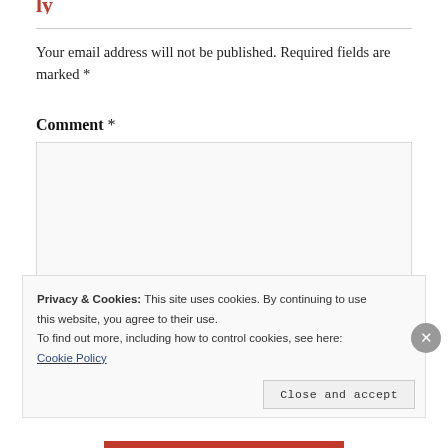Your email address will not be published. Required fields are marked *
Comment *
[Figure (other): Comment text area input box, empty, with resize handle at bottom right]
Privacy & Cookies: This site uses cookies. By continuing to use this website, you agree to their use. To find out more, including how to control cookies, see here: Cookie Policy
Close and accept